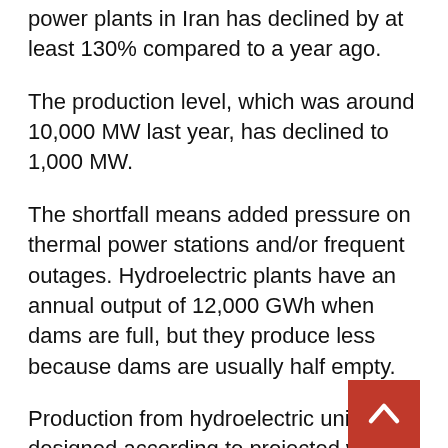power plants in Iran has declined by at least 130% compared to a year ago.
The production level, which was around 10,000 MW last year, has declined to 1,000 MW.
The shortfall means added pressure on thermal power stations and/or frequent outages. Hydroelectric plants have an annual output of 12,000 GWh when dams are full, but they produce less because dams are usually half empty.
Production from hydroelectric units is designed according to projected water conditions. The rise or fall in output depends directly on water levels in dams.
“In order to avoid reliance on hydroelectric power stations at critical times [summer], power plants with a generation capacity of 10,000 MW should be constructed, fo…h more than $0 billion should be invested,” he said.